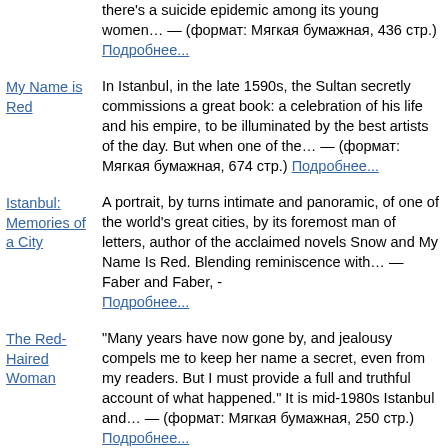there's a suicide epidemic among its young women… — (формат: Мягкая бумажная, 436 стр.) Подробнее...
My Name is Red — In Istanbul, in the late 1590s, the Sultan secretly commissions a great book: a celebration of his life and his empire, to be illuminated by the best artists of the day. But when one of the… — (формат: Мягкая бумажная, 674 стр.) Подробнее...
Istanbul: Memories of a City — A portrait, by turns intimate and panoramic, of one of the world's great cities, by its foremost man of letters, author of the acclaimed novels Snow and My Name Is Red. Blending reminiscence with… — Faber and Faber, - Подробнее...
The Red-Haired Woman — "Many years have now gone by, and jealousy compels me to keep her name a secret, even from my readers. But I must provide a full and truthful account of what happened." It is mid-1980s Istanbul and… — (формат: Мягкая бумажная, 250 стр.) Подробнее...